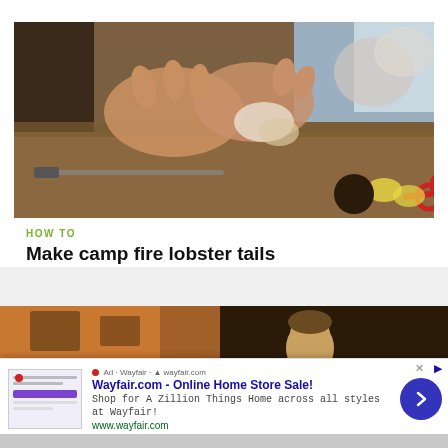[Figure (screenshot): Video thumbnail showing hands preparing lobster tails on a cutting board with red scissors and food items visible]
HOW TO
Make camp fire lobster tails
[Figure (screenshot): Partial video thumbnail showing a person indoors, second article preview]
[Figure (screenshot): Advertisement banner for Wayfair.com - Online Home Store Sale! with thumbnail, text, and arrow button]
Wayfair.com - Online Home Store Sale!
Shop for A Zillion Things Home across all styles at Wayfair!
www.wayfair.com